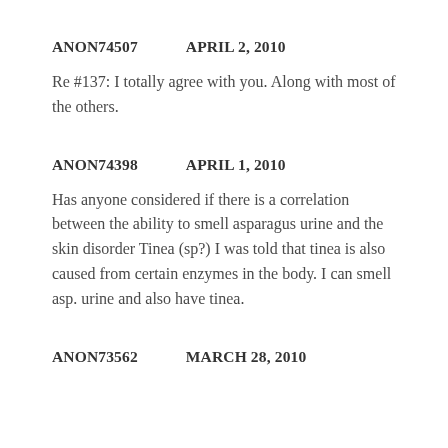ANON74507   APRIL 2, 2010
Re #137: I totally agree with you. Along with most of the others.
ANON74398   APRIL 1, 2010
Has anyone considered if there is a correlation between the ability to smell asparagus urine and the skin disorder Tinea (sp?) I was told that tinea is also caused from certain enzymes in the body. I can smell asp. urine and also have tinea.
ANON73562   MARCH 28, 2010